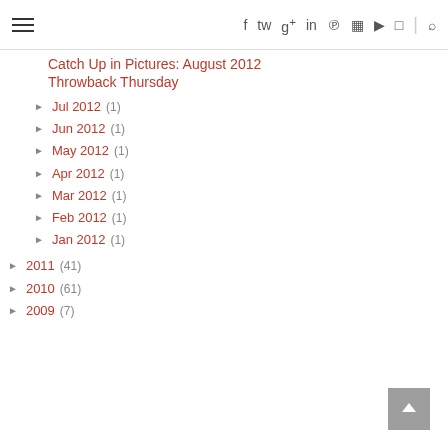☰ | f | tw | g+ | in | pinterest | yt | vimeo | instagram | search
Catch Up in Pictures: August 2012
Throwback Thursday
► Jul 2012 (1)
► Jun 2012 (1)
► May 2012 (1)
► Apr 2012 (1)
► Mar 2012 (1)
► Feb 2012 (1)
► Jan 2012 (1)
► 2011 (41)
► 2010 (61)
► 2009 (7)